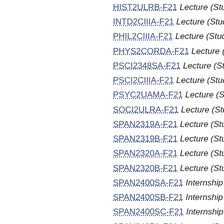HIST2ULRB-F21 Lecture (Study Ab...
INTD2CIIIA-F21 Lecture (Study Ab...
PHIL2CIIIA-F21 Lecture (Study Ab...
PHYS2CORDA-F21 Lecture (Study...
PSCI2348SA-F21 Lecture (Study Ab...
PSCI2CIIIA-F21 Lecture (Study Ab...
PSYC2UAMA-F21 Lecture (Study A...
SOCI2ULRA-F21 Lecture (Study Ab...
SPAN2319A-F21 Lecture (Study Ab...
SPAN2319B-F21 Lecture (Study Ab...
SPAN2320A-F21 Lecture (Study Ab...
SPAN2320B-F21 Lecture (Study Ab...
SPAN2400SA-F21 Internship (Stud...
SPAN2400SB-F21 Internship (Stud...
SPAN2400SC-F21 Internship (Stud...
SPAN2407A-F21 Lecture (Study Ab...
SPAN2407B-F21 Lecture (Study Ab...
SPAN2407C-F21 Lecture (Study Ab...
SPAN2411A-F21 Lecture (Study Ab...
SPAN2411B-F21 Lecture (Study Ab...
SPAN2ULRA-F21 Lecture (Study Ab...
SPAN2ULRB-F21 Lecture (Study Ab...
SPAN2ULRC-F21 Lecture (Study A...